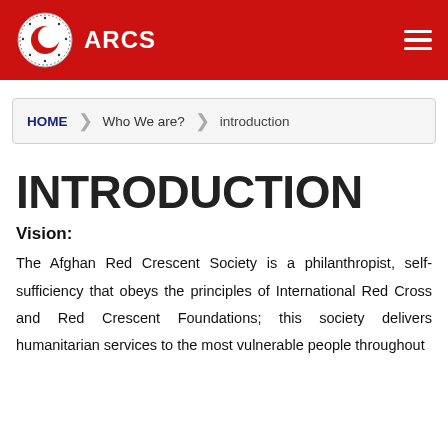ARCS
HOME  Who We are?  introduction
INTRODUCTION
Vision:
The Afghan Red Crescent Society is a philanthropist, self-sufficiency that obeys the principles of International Red Cross and Red Crescent Foundations; this society delivers humanitarian services to the most vulnerable people throughout